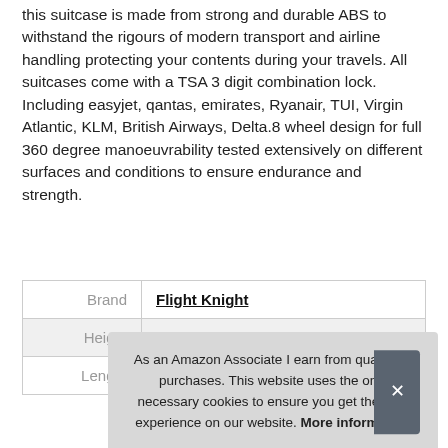this suitcase is made from strong and durable ABS to withstand the rigours of modern transport and airline handling protecting your contents during your travels. All suitcases come with a TSA 3 digit combination lock. Including easyjet, qantas, emirates, Ryanair, TUI, Virgin Atlantic, KLM, British Airways, Delta.8 wheel design for full 360 degree manoeuvrability tested extensively on different surfaces and conditions to ensure endurance and strength.
|  |  |
| --- | --- |
| Brand | Flight Knight |
| Height | 55 cm (21.65 Inches) |
| Length | 35 cm (13.78 Inches) |
As an Amazon Associate I earn from qualifying purchases. This website uses the only necessary cookies to ensure you get the best experience on our website. More information